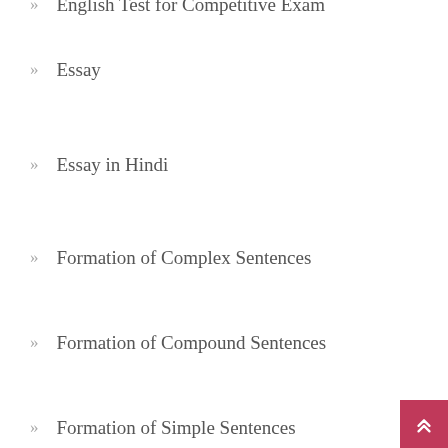English Test for Competitive Exam
Essay
Essay in Hindi
Formation of Complex Sentences
Formation of Compound Sentences
Formation of Simple Sentences
Future Tense
Homophones
Idioms and Phrases
Introduction of Parts of Speech